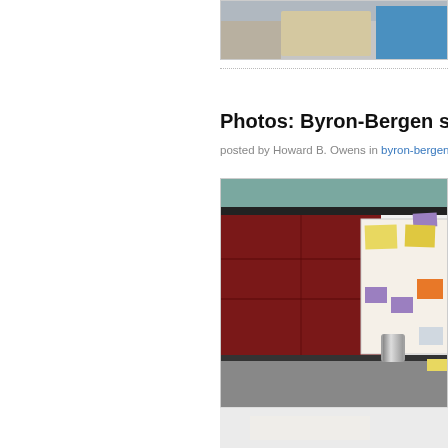[Figure (photo): Partial photo at top of page showing a classroom or office scene with a blue object visible]
Photos: Byron-Bergen science
posted by Howard B. Owens in byron-bergen, sc
[Figure (photo): Science fair display board with yellow and purple sticky notes, a silver canister, against a dark red padded wall background with teal/grey upper wall]